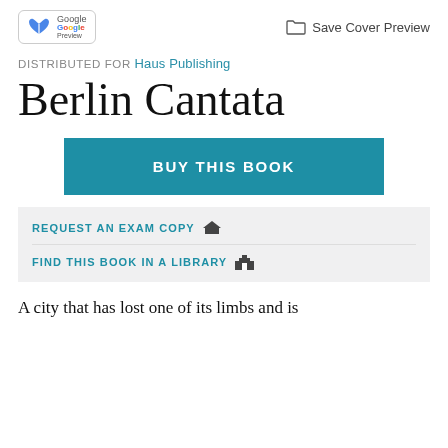[Figure (logo): Google Preview badge with book icon]
Save Cover Preview
DISTRIBUTED FOR Haus Publishing
Berlin Cantata
BUY THIS BOOK
REQUEST AN EXAM COPY
FIND THIS BOOK IN A LIBRARY
A city that has lost one of its limbs and is